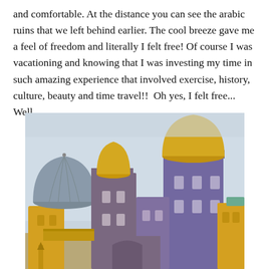and comfortable. At the distance you can see the arabic ruins that we left behind earlier. The cool breeze gave me a feel of freedom and literally I felt free! Of course I was vacationing and knowing that I was investing my time in such amazing experience that involved exercise, history, culture, beauty and time travel!!  Oh yes, I felt free... Well
[Figure (photo): Photograph of a colorful historic palace (Pena Palace, Sintra, Portugal) with purple stone towers topped with yellow/gold domes, and yellow-painted lower sections. Overcast sky background.]